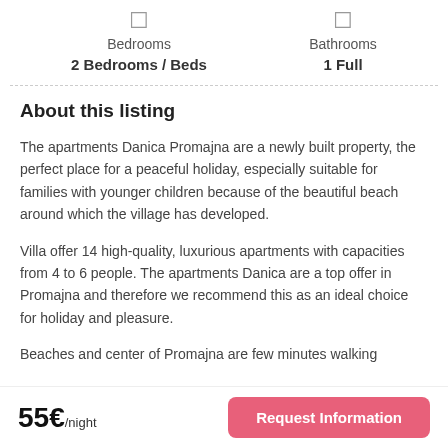Bedrooms
2 Bedrooms / Beds
Bathrooms
1 Full
About this listing
The apartments Danica Promajna are a newly built property, the perfect place for a peaceful holiday, especially suitable for families with younger children because of the beautiful beach around which the village has developed.
Villa offer 14 high-quality, luxurious apartments with capacities from 4 to 6 people. The apartments Danica are a top offer in Promajna and therefore we recommend this as an ideal choice for holiday and pleasure.
Beaches and center of Promajna are few minutes walking
55€/night
Request Information